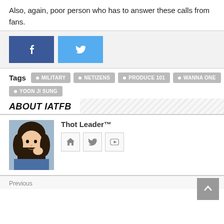Also, again, poor person who has to answer these calls from fans.
[Figure (other): Social share buttons: Facebook (blue f) and Twitter (light blue bird icon)]
Tags  MILITARY  NETIZENS  PRODUCE 101  WANNA ONE  YOON JI SUNG
ABOUT IATFB
[Figure (photo): Photo of a young woman with dark hair making a hand gesture, wearing a blue jacket]
Thot Leader™
[Figure (other): Social icons: home, twitter, youtube]
Previous